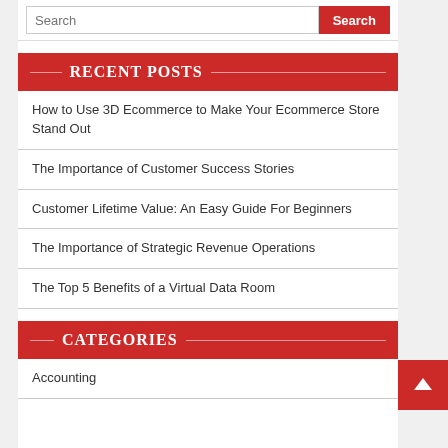Search
RECENT POSTS
How to Use 3D Ecommerce to Make Your Ecommerce Store Stand Out
The Importance of Customer Success Stories
Customer Lifetime Value: An Easy Guide For Beginners
The Importance of Strategic Revenue Operations
The Top 5 Benefits of a Virtual Data Room
CATEGORIES
Accounting